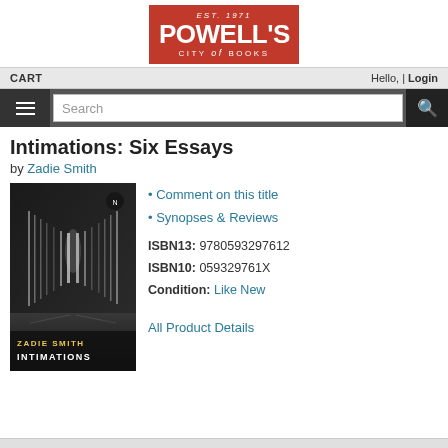[Figure (logo): Powell's City of Books logo — red background, white text, EST. 1971]
CART    Hello, | Login
[Figure (screenshot): Navigation bar with hamburger menu, search input, and search button]
Intimations: Six Essays
by Zadie Smith
[Figure (photo): Book cover for Intimations by Zadie Smith — dark background with vertical light streaks, yellow and white author/title text at bottom]
Comment on this title
Synopses & Reviews
ISBN13: 9780593297612
ISBN10: 059329761X
Condition: Like New
All Product Details